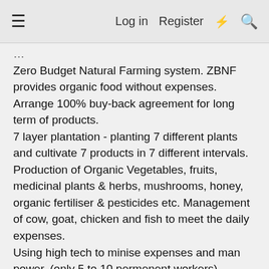≡   Log in   Register   ⚡   🔍
Zero Budget Natural Farming system. ZBNF provides organic food without expenses. Arrange 100% buy-back agreement for long term of products.
7 layer plantation - planting 7 different plants and cultivate 7 products in 7 different intervals.
Production of Organic Vegetables, fruits, medicinal plants & herbs, mushrooms, honey, organic fertiliser & pesticides etc. Management of cow, goat, chicken and fish to meet the daily expenses.
Using high tech to minise expenses and man power. (only 5 to 10 permenent workers)
Using digital platforms for marketing, sales, purchase and exports.
A full master plan for 10 years will be adopted with prior finance planing, tourism and expansion programes.